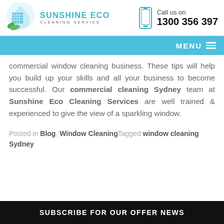[Figure (logo): Sunshine Eco Cleaning Service logo with building, water drop, and green leaves]
Call us on 1300 356 397
MENU
commercial window cleaning business. These tips will help you build up your skills and all your business to become successful. Our commercial cleaning Sydney team at Sunshine Eco Cleaning Services are well trained & experienced to give the view of a sparkling window.
Posted in Blog, Window CleaningTagged window cleaning Sydney
SUBSCRIBE FOR OUR OFFER NEWS